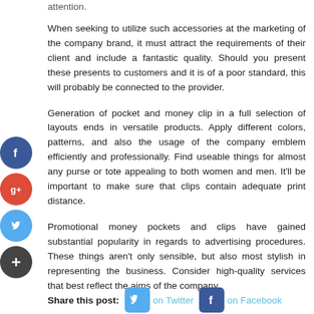attention.
When seeking to utilize such accessories at the marketing of the company brand, it must attract the requirements of their client and include a fantastic quality. Should you present these presents to customers and it is of a poor standard, this will probably be connected to the provider.
Generation of pocket and money clip in a full selection of layouts ends in versatile products. Apply different colors, patterns, and also the usage of the company emblem efficiently and professionally. Find useable things for almost any purse or tote appealing to both women and men. It'll be important to make sure that clips contain adequate print distance.
Promotional money pockets and clips have gained substantial popularity in regards to advertising procedures. These things aren't only sensible, but also most stylish in representing the business. Consider high-quality services that best reflect the aims of the company.
Share this post: on Twitter on Facebook